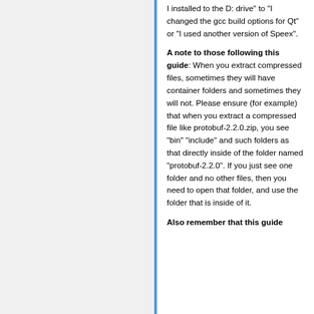I installed to the D: drive" to "I changed the gcc build options for Qt" or "I used another version of Speex".
A note to those following this guide: When you extract compressed files, sometimes they will have container folders and sometimes they will not. Please ensure (for example) that when you extract a compressed file like protobuf-2.2.0.zip, you see "bin" "include" and such folders as that directly inside of the folder named "protobuf-2.2.0". If you just see one folder and no other files, then you need to open that folder, and use the folder that is inside of it.
Also remember that this guide